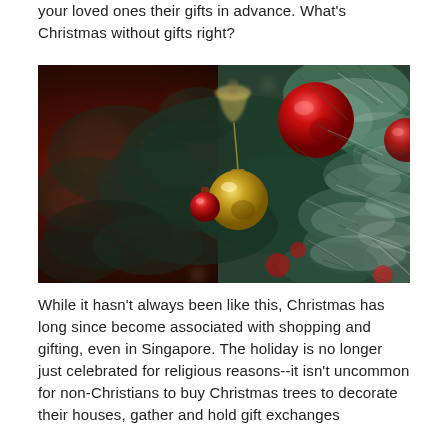your loved ones their gifts in advance. What's Christmas without gifts right?
[Figure (photo): Close-up photograph of a decorated Christmas tree with gold and red ornament balls and green pine branches]
While it hasn't always been like this, Christmas has long since become associated with shopping and gifting, even in Singapore. The holiday is no longer just celebrated for religious reasons--it isn't uncommon for non-Christians to buy Christmas trees to decorate their houses, gather and hold gift exchanges